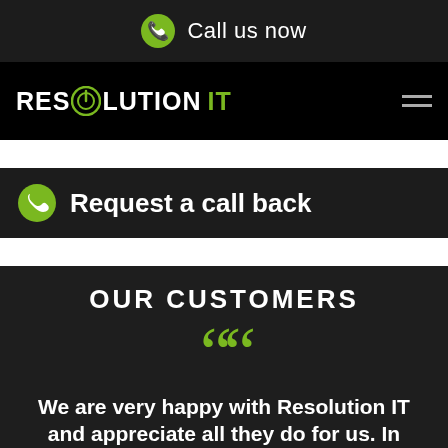Call us now
[Figure (logo): Resolution IT logo with power button icon replacing the O in RESOLUTION, and IT in green]
Request a call back
OUR CUSTOMERS
We are very happy with Resolution IT and appreciate all they do for us. In